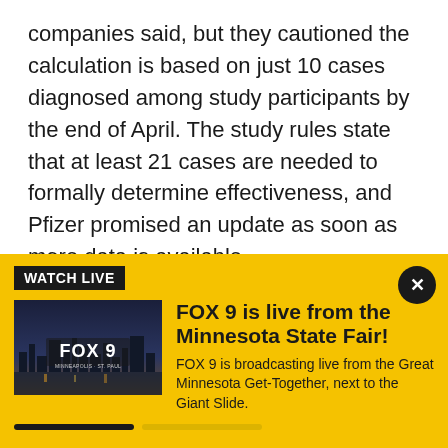companies said, but they cautioned the calculation is based on just 10 cases diagnosed among study participants by the end of April. The study rules state that at least 21 cases are needed to formally determine effectiveness, and Pfizer promised an update as soon as more data is available.
While the vaccine effectiveness likely could change somewhat, "all of this is very positive for those parents who are looking forward to having a vaccine for their younger children in the coming months," said Dr.
[Figure (screenshot): WATCH LIVE banner overlay in yellow/gold background with FOX 9 logo thumbnail image showing city skyline at dusk, headline 'FOX 9 is live from the Minnesota State Fair!', description text, and a progress bar. Close button (X) in top right.]